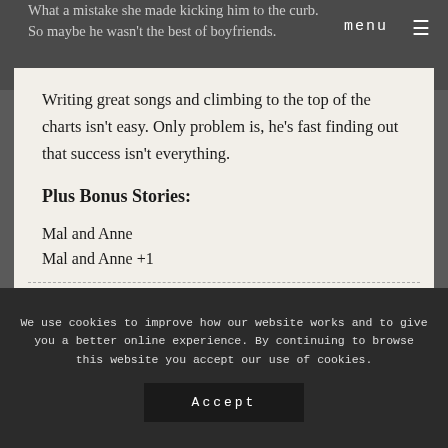menu ≡
What a mistake she made kicking him to the curb. So maybe he wasn't the best of boyfriends.
Writing great songs and climbing to the top of the charts isn't easy. Only problem is, he's fast finding out that success isn't everything.
Plus Bonus Stories:
Mal and Anne
Mal and Anne +1
We use cookies to improve how our website works and to give you a better online experience. By continuing to browse this website you accept our use of cookies.
Accept